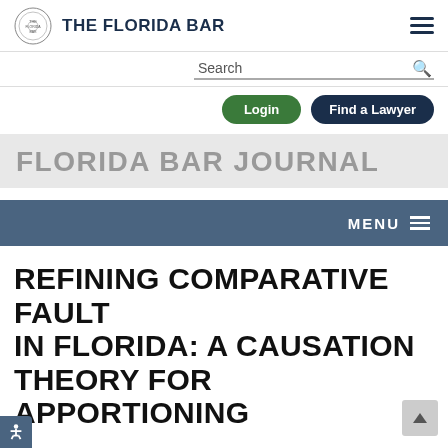THE FLORIDA BAR
Search
Login | Find a Lawyer
FLORIDA BAR JOURNAL
MENU
REFINING COMPARATIVE FAULT IN FLORIDA: A CAUSATION THEORY FOR APPORTIONING